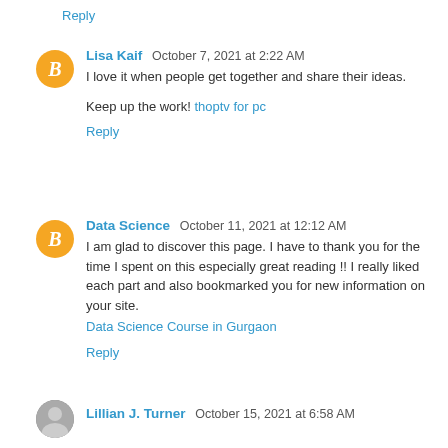Reply
Lisa Kaif  October 7, 2021 at 2:22 AM
I love it when people get together and share their ideas.

Keep up the work! thoptv for pc
Reply
Data Science  October 11, 2021 at 12:12 AM
I am glad to discover this page. I have to thank you for the time I spent on this especially great reading !! I really liked each part and also bookmarked you for new information on your site.
Data Science Course in Gurgaon
Reply
Lillian J. Turner  October 15, 2021 at 6:58 AM